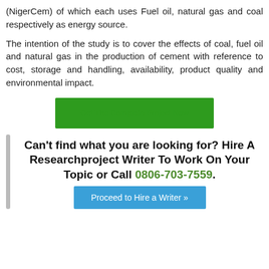(NigerCem) of which each uses Fuel oil, natural gas and coal respectively as energy source.
The intention of the study is to cover the effects of coal, fuel oil and natural gas in the production of cement with reference to cost, storage and handling, availability, product quality and environmental impact.
[Figure (other): Green button labeled 'Get The Complete Project Now']
Can't find what you are looking for? Hire A Researchproject Writer To Work On Your Topic or Call 0806-703-7559.
[Figure (other): Blue button labeled 'Proceed to Hire a Writer »']